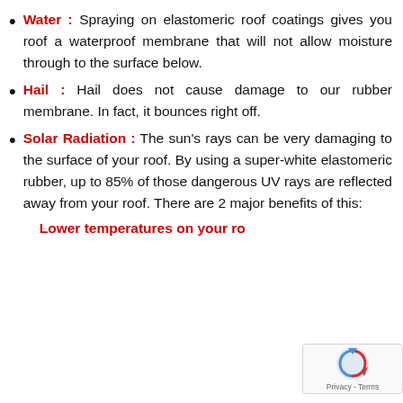Water : Spraying on elastomeric roof coatings gives you roof a waterproof membrane that will not allow moisture through to the surface below.
Hail : Hail does not cause damage to our rubber membrane. In fact, it bounces right off.
Solar Radiation : The sun's rays can be very damaging to the surface of your roof. By using a super-white elastomeric rubber, up to 85% of those dangerous UV rays are reflected away from your roof. There are 2 major benefits of this:
1. Lower temperatures on your ro...